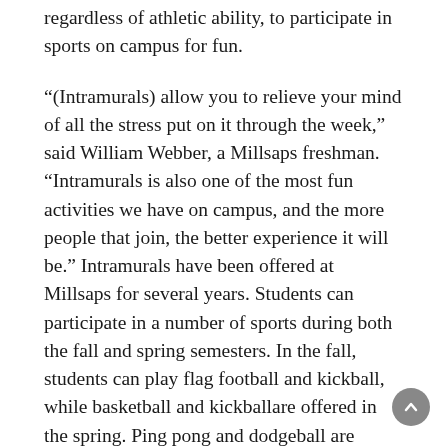regardless of athletic ability, to participate in sports on campus for fun.
“(Intramurals) allow you to relieve your mind of all the stress put on it through the week,” said William Webber, a Millsaps freshman. “Intramurals is also one of the most fun activities we have on campus, and the more people that join, the better experience it will be.” Intramurals have been offered at Millsaps for several years. Students can participate in a number of sports during both the fall and spring semesters. In the fall, students can play flag football and kickball, while basketball and kickballare offered in the spring. Ping pong and dodgeball are offered at various times during the year as one-day, round robin tournaments.
Millsaps director of strength and conditioning Joel Higginbotham, affectionately known around campus as